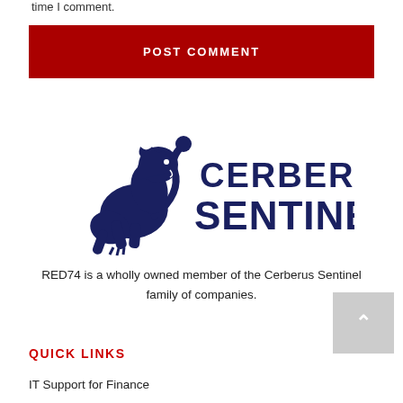time I comment.
POST COMMENT
[Figure (logo): Cerberus Sentinel logo: dark navy heraldic lion creature on the left, with text 'CERBERUS SENTINEL' to the right in dark navy bold font.]
RED74 is a wholly owned member of the Cerberus Sentinel family of companies.
QUICK LINKS
IT Support for Finance